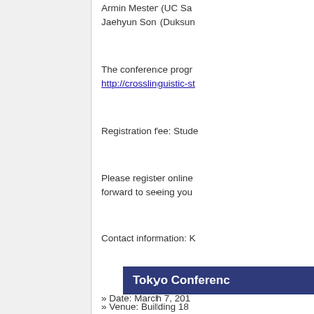Armin Mester (UC Sa... Jaehyun Son (Duksun...
The conference progr... http://crosslinguistic-st...
Registration fee: Stude...
Please register online... forward to seeing you...
Contact information: K...
Tokyo Conferenc...
» Date: March 7, 201...
» Venue: Building 18... http://www.u-tokyo...